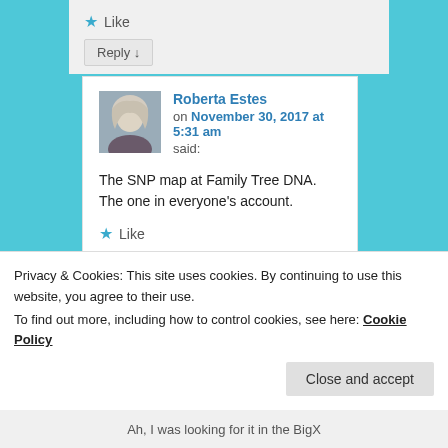Like
Reply ↓
Roberta Estes
on November 30, 2017 at 5:31 am said:
The SNP map at Family Tree DNA. The one in everyone's account.
Like
Privacy & Cookies: This site uses cookies. By continuing to use this website, you agree to their use.
To find out more, including how to control cookies, see here: Cookie Policy
Close and accept
Ah, I was looking for it in the BigX